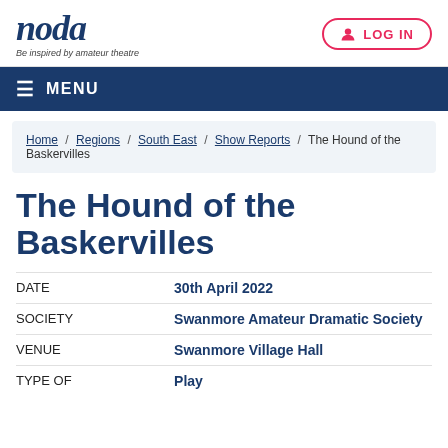[Figure (logo): NODA logo with italic text 'noda' and tagline 'Be inspired by amateur theatre']
LOG IN
MENU
Home / Regions / South East / Show Reports / The Hound of the Baskervilles
The Hound of the Baskervilles
| Field | Value |
| --- | --- |
| DATE | 30th April 2022 |
| SOCIETY | Swanmore Amateur Dramatic Society |
| VENUE | Swanmore Village Hall |
| TYPE OF | Play |